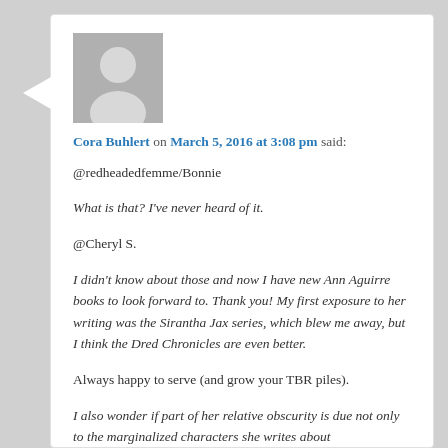[Figure (photo): Generic grey user avatar placeholder image showing a silhouette of a person]
Cora Buhlert on March 5, 2016 at 3:08 pm said:
@redheadedfemme/Bonnie

What is that? I've never heard of it.

@Cheryl S.

I didn't know about those and now I have new Ann Aguirre books to look forward to. Thank you! My first exposure to her writing was the Sirantha Jax series, which blew me away, but I think the Dred Chronicles are even better.

Always happy to serve (and grow your TBR piles).

I also wonder if part of her relative obscurity is due not only to the marginalized characters she writes about